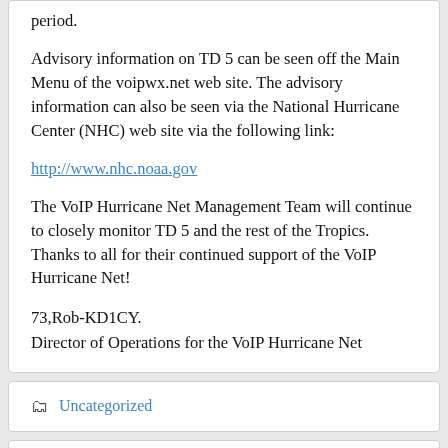period.
Advisory information on TD 5 can be seen off the Main Menu of the voipwx.net web site. The advisory information can also be seen via the National Hurricane Center (NHC) web site via the following link:
http://www.nhc.noaa.gov
The VoIP Hurricane Net Management Team will continue to closely monitor TD 5 and the rest of the Tropics. Thanks to all for their continued support of the VoIP Hurricane Net!
73,Rob-KD1CY.
Director of Operations for the VoIP Hurricane Net
Uncategorized